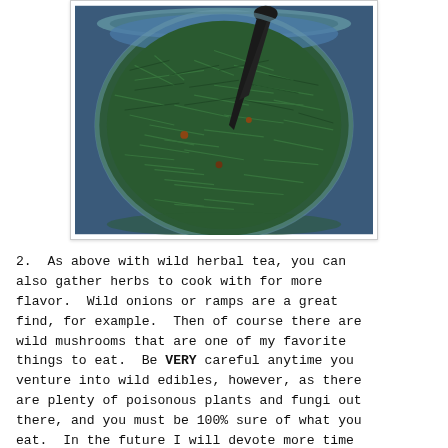[Figure (photo): Overhead view of a glass jar filled with green pine needles or similar herb material and water, with a dark spoon or utensil visible]
2.  As above with wild herbal tea, you can also gather herbs to cook with for more flavor.  Wild onions or ramps are a great find, for example.  Then of course there are wild mushrooms that are one of my favorite things to eat.  Be VERY careful anytime you venture into wild edibles, however, as there are plenty of poisonous plants and fungi out there, and you must be 100% sure of what you eat.  In the future I will devote more time